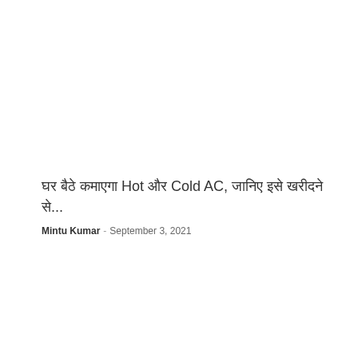घर बैठे कमाएगा Hot और Cold AC, जानिए इसे खरीदने से...
Mintu Kumar - September 3, 2021